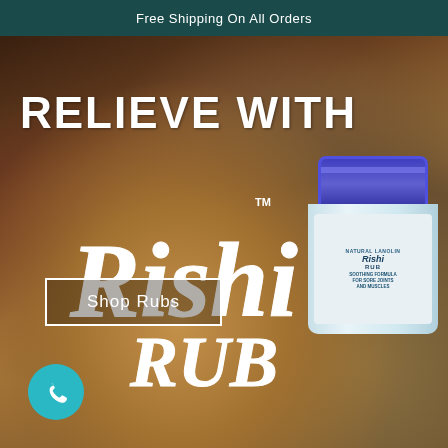Free Shipping On All Orders
[Figure (photo): Marketing advertisement page for Rishi Rub product. An elderly person's hand holds a jar of Rishi Rub - a soothing formula for sore joints and muscles. The product has a blue/purple lid and light blue label. Overlaid text reads 'RELIEVE with' at top and stylized 'Rishi RUB' logo in white script in the center. A 'Shop Rubs' button with white border appears at the bottom left, and a teal phone icon button is at the bottom left corner.]
RELIEVE with
Rishi RUB™
Shop Rubs